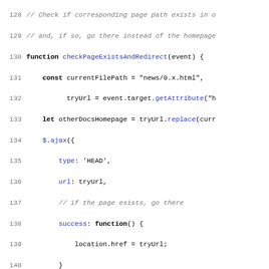Source code listing lines 128-157, JavaScript code for checkPageExistsAndRedirect function and version switcher initialization